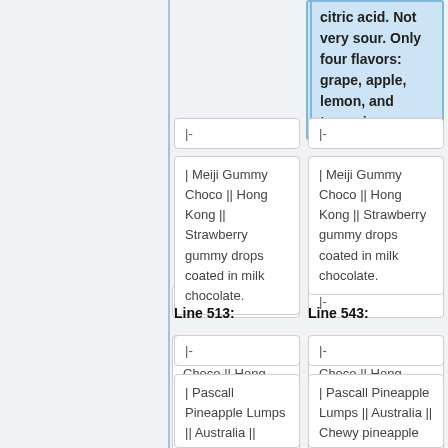citric acid. Not very sour. Only four flavors: grape, apple, lemon, and tangerine.
|-
|-
| Meiji Gummy Choco || Hong Kong || Strawberry gummy drops coated in milk chocolate.
| Meiji Gummy Choco || Hong Kong || Strawberry gummy drops coated in milk chocolate.
Line 513:
Line 543:
|-
|-
| Pascall Pineapple Lumps || Australia || Chewy pineapple
| Pascall Pineapple Lumps || Australia || Chewy pineapple